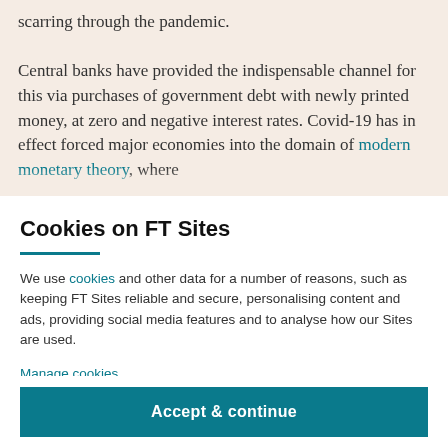scarring through the pandemic. Central banks have provided the indispensable channel for this via purchases of government debt with newly printed money, at zero and negative interest rates. Covid-19 has in effect forced major economies into the domain of modern monetary theory, where
Cookies on FT Sites
We use cookies and other data for a number of reasons, such as keeping FT Sites reliable and secure, personalising content and ads, providing social media features and to analyse how our Sites are used.
Manage cookies
Accept & continue